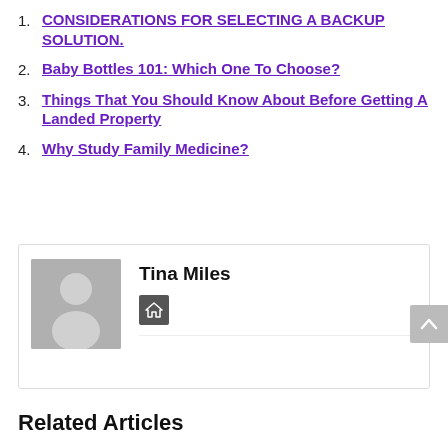1. CONSIDERATIONS FOR SELECTING A BACKUP SOLUTION.
2. Baby Bottles 101: Which One To Choose?
3. Things That You Should Know About Before Getting A Landed Property
4. Why Study Family Medicine?
[Figure (illustration): Author profile card with a grey silhouette avatar placeholder image, author name 'Tina Miles' in bold, and a dark grey home icon button below the name.]
Related Articles